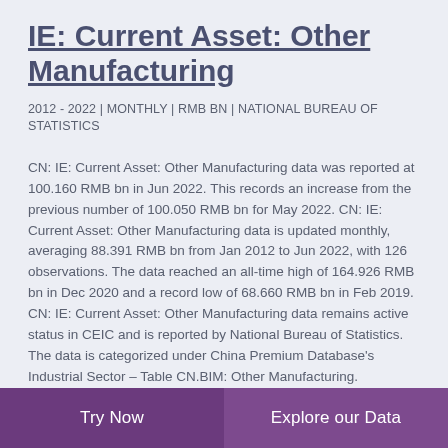IE: Current Asset: Other Manufacturing
2012 - 2022 | MONTHLY | RMB BN | NATIONAL BUREAU OF STATISTICS
CN: IE: Current Asset: Other Manufacturing data was reported at 100.160 RMB bn in Jun 2022. This records an increase from the previous number of 100.050 RMB bn for May 2022. CN: IE: Current Asset: Other Manufacturing data is updated monthly, averaging 88.391 RMB bn from Jan 2012 to Jun 2022, with 126 observations. The data reached an all-time high of 164.926 RMB bn in Dec 2020 and a record low of 68.660 RMB bn in Feb 2019. CN: IE: Current Asset: Other Manufacturing data remains active status in CEIC and is reported by National Bureau of Statistics. The data is categorized under China Premium Database's Industrial Sector – Table CN.BIM: Other Manufacturing.
Try Now | Explore our Data